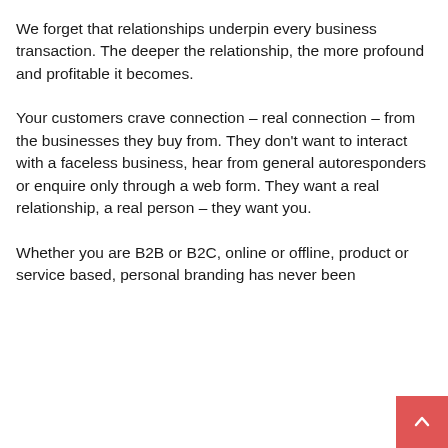We forget that relationships underpin every business transaction. The deeper the relationship, the more profound and profitable it becomes.
Your customers crave connection – real connection – from the businesses they buy from. They don't want to interact with a faceless business, hear from general autoresponders or enquire only through a web form. They want a real relationship, a real person – they want you.
Whether you are B2B or B2C, online or offline, product or service based, personal branding has never been